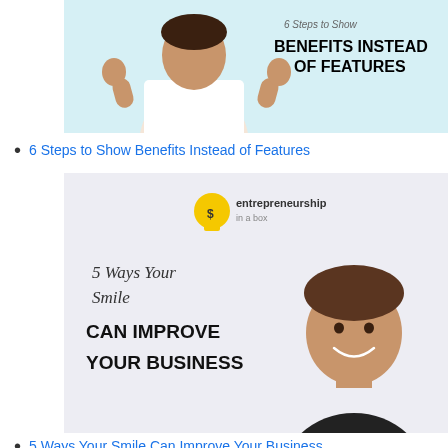[Figure (illustration): A man in a white shirt giving two thumbs up on a light blue background, with bold text reading '6 Steps to Show BENEFITS INSTEAD OF FEATURES']
6 Steps to Show Benefits Instead of Features
[Figure (illustration): A smiling man in a dark shirt on a light purple/grey background, with 'entrepreneurship in a box' logo and text reading '5 Ways Your Smile CAN IMPROVE YOUR BUSINESS']
5 Ways Your Smile Can Improve Your Business